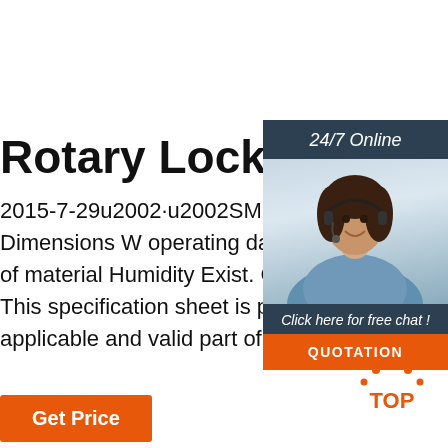Rotary Lock
2015-7-29u2002·u2002SMD identification of construction Net weight Dimensions W operating data : Conveyed material Densi Temperature of material Humidity Exist. C capacity Exist. Conveying capacity Theor. This specification sheet is provided for each purchase and is an applicable and valid part of the operating manual.
[Figure (illustration): Customer service representative with headset, sidebar with 24/7 Online header, Click here for free chat text, and QUOTATION button in orange]
[Figure (illustration): TOP scroll-to-top icon with orange dots]
Get Price